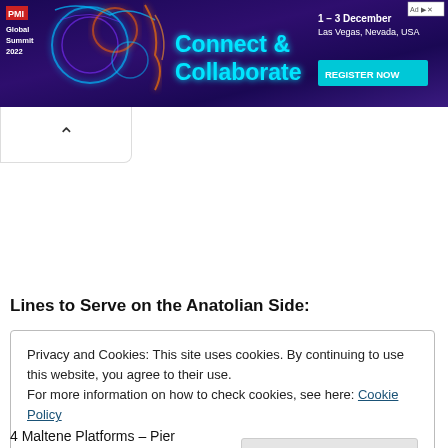[Figure (illustration): PMI Global Summit 2022 banner advertisement. Dark purple/navy background with neon blue and orange glowing abstract design elements. Text reads: PMI Global Summit 2022, Connect & Collaborate, 1-3 December Las Vegas, Nevada, USA, REGISTER NOW button. Ad badge in top right corner.]
Lines to Serve on the Anatolian Side:
Privacy and Cookies: This site uses cookies. By continuing to use this website, you agree to their use.
For more information on how to check cookies, see here: Cookie Policy
OK
4 Maltene Platforms – Pier